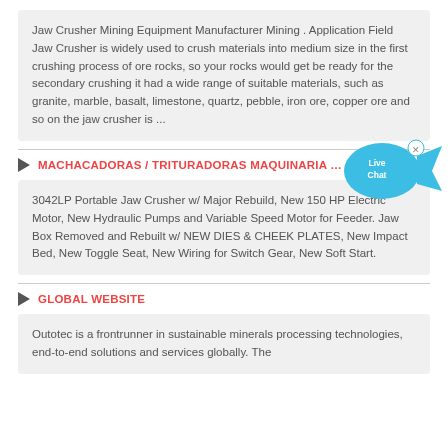Jaw Crusher Mining Equipment Manufacturer Mining . Application Field Jaw Crusher is widely used to crush materials into medium size in the first crushing process of ore rocks, so your rocks would get be ready for the secondary crushing it had a wide range of suitable materials, such as granite, marble, basalt, limestone, quartz, pebble, iron ore, copper ore and so on the jaw crusher is ...
MACHACADORAS / TRITURADORAS MAQUINARIA DE ÁRID...
3042LP Portable Jaw Crusher w/ Major Rebuild, New 150 HP Electric Motor, New Hydraulic Pumps and Variable Speed Motor for Feeder. Jaw Box Removed and Rebuilt w/ NEW DIES & CHEEK PLATES, New Impact Bed, New Toggle Seat, New Wiring for Switch Gear, New Soft Start.
GLOBAL WEBSITE
Outotec is a frontrunner in sustainable minerals processing technologies, end-to-end solutions and services globally. The ...